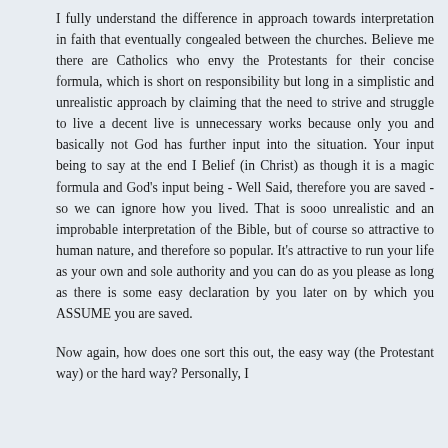I fully understand the difference in approach towards interpretation in faith that eventually congealed between the churches. Believe me there are Catholics who envy the Protestants for their concise formula, which is short on responsibility but long in a simplistic and unrealistic approach by claiming that the need to strive and struggle to live a decent live is unnecessary works because only you and basically not God has further input into the situation. Your input being to say at the end I Belief (in Christ) as though it is a magic formula and God's input being - Well Said, therefore you are saved - so we can ignore how you lived. That is sooo unrealistic and an improbable interpretation of the Bible, but of course so attractive to human nature, and therefore so popular. It's attractive to run your life as your own and sole authority and you can do as you please as long as there is some easy declaration by you later on by which you ASSUME you are saved.
Now again, how does one sort this out, the easy way (the Protestant way) or the hard way? Personally, I